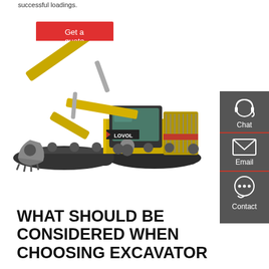successful loadings.
Get a quote
[Figure (photo): Yellow LOVOL FR200E crawler excavator on white background, side view showing boom arm extended with bucket, tracks visible]
[Figure (infographic): Dark gray sidebar with three contact options: Chat (headset icon), Email (envelope icon), Contact (speech bubble icon), separated by red horizontal lines]
WHAT SHOULD BE CONSIDERED WHEN CHOOSING EXCAVATOR